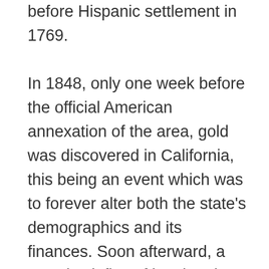before Hispanic settlement in 1769. In 1848, only one week before the official American annexation of the area, gold was discovered in California, this being an event which was to forever alter both the state's demographics and its finances. Soon afterward, a massive influx of immigration into the area resulted, as prospectors and miners arrived by the thousands. The population burgeoned with United States citizens, Europeans, Chinese and other immigrants during the great California Gold Rush. By the time of California's application for statehood in 1850, the settler population of California had multiplied to